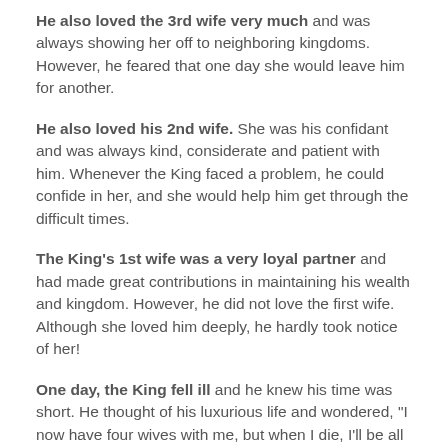He also loved the 3rd wife very much and was always showing her off to neighboring kingdoms. However, he feared that one day she would leave him for another.
He also loved his 2nd wife. She was his confidant and was always kind, considerate and patient with him. Whenever the King faced a problem, he could confide in her, and she would help him get through the difficult times.
The King's 1st wife was a very loyal partner and had made great contributions in maintaining his wealth and kingdom. However, he did not love the first wife. Although she loved him deeply, he hardly took notice of her!
One day, the King fell ill and he knew his time was short. He thought of his luxurious life and wondered, "I now have four wives with me, but when I die, I'll be all alone".